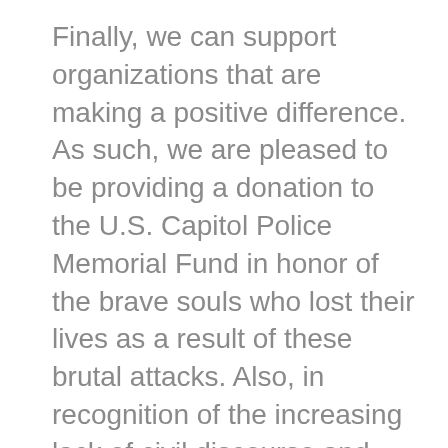Finally, we can support organizations that are making a positive difference. As such, we are pleased to be providing a donation to the U.S. Capitol Police Memorial Fund in honor of the brave souls who lost their lives as a result of these brutal attacks. Also, in recognition of the increasing lack of civil discourse and how this leads to a breakdown in our society, we are making a commitment to fund organizations around the country in the area of civic education. We encourage others, especially those in the government relations, lobbying and advocacy industry to consider doing the same.